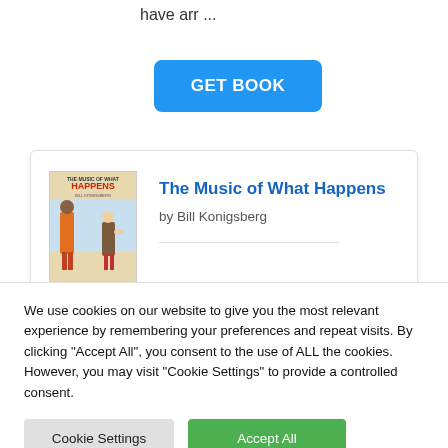have arr ...
GET BOOK
[Figure (illustration): Book card showing cover of 'The Music of What Happens' with two figures on it, alongside the book title and author.]
The Music of What Happens
by Bill Konigsberg
From the award-winning author of
We use cookies on our website to give you the most relevant experience by remembering your preferences and repeat visits. By clicking "Accept All", you consent to the use of ALL the cookies. However, you may visit "Cookie Settings" to provide a controlled consent.
Cookie Settings
Accept All